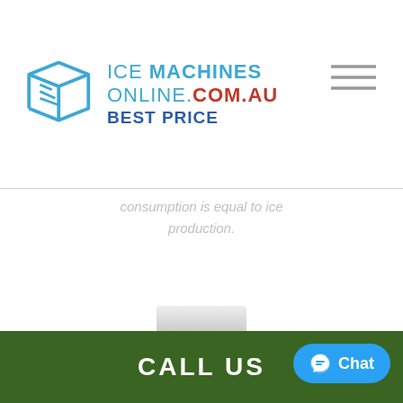[Figure (logo): Ice Machines Online logo: blue box icon with ice cube lines, text 'ICE MACHINES ONLINE.COM.AU BEST PRICE' in blue and red]
consumption is equal to ice production.
QUOTE NOW
LEARN MORE
CALL US
[Figure (other): Facebook Messenger Chat button, blue rounded rectangle with chat icon and 'Chat' text]